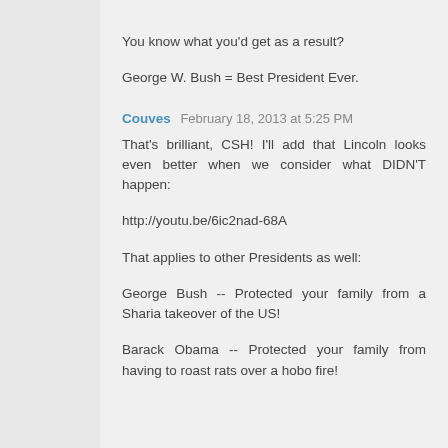You know what you'd get as a result?
George W. Bush = Best President Ever.
Couves  February 18, 2013 at 5:25 PM
That's brilliant, CSH! I'll add that Lincoln looks even better when we consider what DIDN'T happen:
http://youtu.be/6ic2nad-68A
That applies to other Presidents as well:
George Bush -- Protected your family from a Sharia takeover of the US!
Barack Obama -- Protected your family from having to roast rats over a hobo fire!